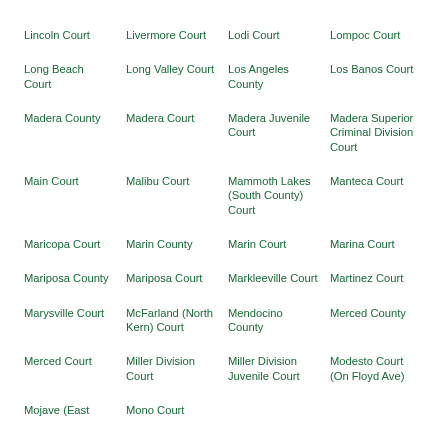Lincoln Court
Livermore Court
Lodi Court
Lompoc Court
Long Beach Court
Long Valley Court
Los Angeles County
Los Banos Court
Madera County
Madera Court
Madera Juvenile Court
Madera Superior Criminal Division Court
Main Court
Malibu Court
Mammoth Lakes (South County) Court
Manteca Court
Maricopa Court
Marin County
Marin Court
Marina Court
Mariposa County
Mariposa Court
Markleeville Court
Martinez Court
Marysville Court
McFarland (North Kern) Court
Mendocino County
Merced County
Merced Court
Miller Division Court
Miller Division Juvenile Court
Modesto Court (On Floyd Ave)
Mojave (East…
Mono Court…